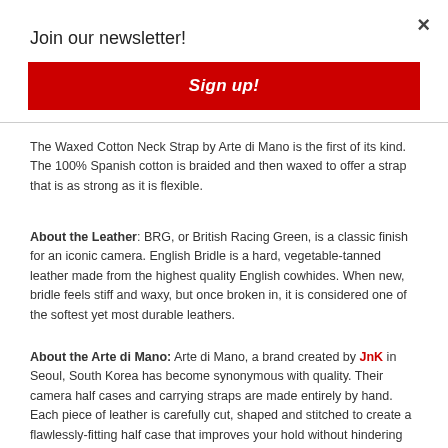Join our newsletter!
×
Sign up!
The Waxed Cotton Neck Strap by Arte di Mano is the first of its kind. The 100% Spanish cotton is braided and then waxed to offer a strap that is as strong as it is flexible.
About the Leather: BRG, or British Racing Green, is a classic finish for an iconic camera. English Bridle is a hard, vegetable-tanned leather made from the highest quality English cowhides. When new, bridle feels stiff and waxy, but once broken in, it is considered one of the softest yet most durable leathers.
About the Arte di Mano: Arte di Mano, a brand created by JnK in Seoul, South Korea has become synonymous with quality. Their camera half cases and carrying straps are made entirely by hand. Each piece of leather is carefully cut, shaped and stitched to create a flawlessly-fitting half case that improves your hold without hindering any functionality of the camera.